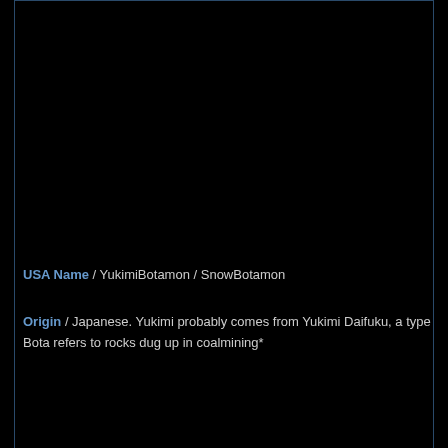Warp Evolu
Gabumon,
Guilmon, R
Garurumon
Growlmon,
USA Name / YukimiBotamon / SnowBotamon
Japanese
Origin / Japanese. Yukimi probably comes from Yukimi Daifuku, a type of Japanese sweet covered in powder. Bota refers to rocks dug up in coalmining*
Origin / Ja... type of Jap... dug up in c...
* Name meaning taken from Megchan's site
[Figure (screenshot): Click Here to Visit! button with broken image placeholder]
Site Meter
The DMA is just a fan site. We're not affiliated with the respected makers of the series  / Disclaimer
See any mistakes? Opinions? Comments? Go here.